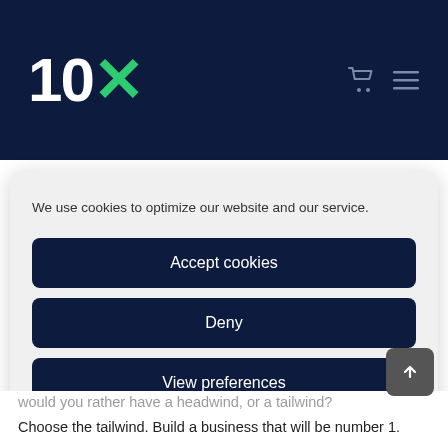10X
We use cookies to optimize our website and our service.
Accept cookies
Deny
View preferences
Cookie Policy   Privacy Statement
would you rather have a headwind, or a tailwind?
Choose the tailwind. Build a business that will be number 1.